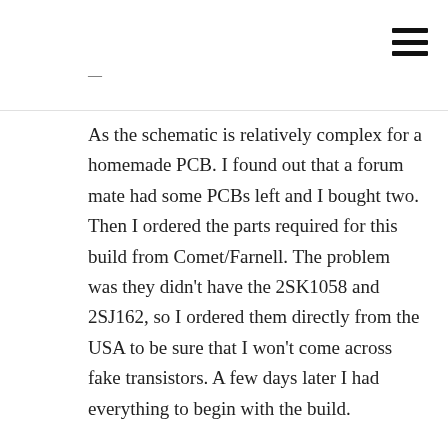As the schematic is relatively complex for a homemade PCB. I found out that a forum mate had some PCBs left and I bought two. Then I ordered the parts required for this build from Comet/Farnell. The problem was they didn't have the 2SK1058 and 2SJ162, so I ordered them directly from the USA to be sure that I won't come across fake transistors. A few days later I had everything to begin with the build.